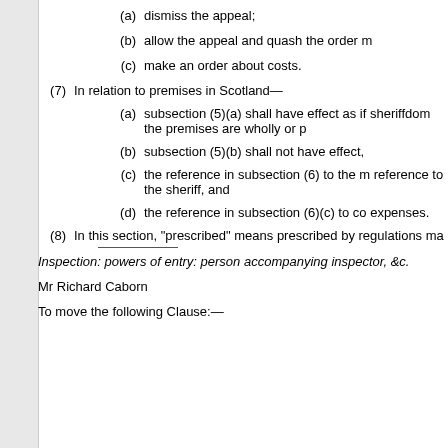(a)  dismiss the appeal;
(b)  allow the appeal and quash the order m
(c)  make an order about costs.
(7)  In relation to premises in Scotland—
(a)  subsection (5)(a) shall have effect as if sheriffdom the premises are wholly or p
(b)  subsection (5)(b) shall not have effect,
(c)  the reference in subsection (6) to the m reference to the sheriff, and
(d)  the reference in subsection (6)(c) to co expenses.
(8)  In this section, "prescribed" means prescribed by regulations ma
Inspection: powers of entry: person accompanying inspector, &c.
Mr Richard Caborn
To move the following Clause:—